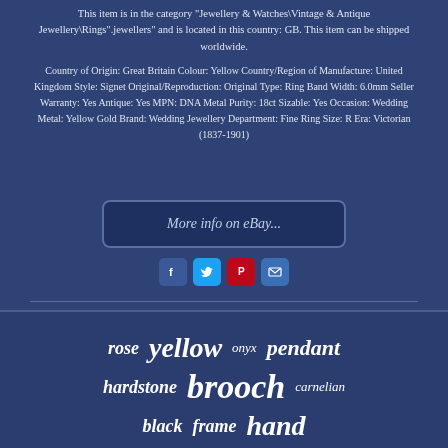This item is in the category "Jewellery & Watches\Vintage & Antique Jewellery\Rings".jewellers" and is located in this country: GB. This item can be shipped worldwide.
Country of Origin: Great Britain Colour: Yellow Country/Region of Manufacture: United Kingdom Style: Signet Original/Reproduction: Original Type: Ring Band Width: 6.0mm Seller Warranty: Yes Antique: Yes MPN: DNA Metal Purity: 18ct Sizable: Yes Occasion: Wedding Metal: Yellow Gold Brand: Wedding Jewellery Department: Fine Ring Size: R Era: Victorian (1837-1901)
[Figure (screenshot): eBay button: 'More info on eBay...']
[Figure (infographic): Social media share icons: Facebook (blue), Twitter (light blue), Pinterest (red), Email (blue)]
rose  yellow  onyx  pendant  hardstone  brooch  carnelian  black  frame  hand  carved